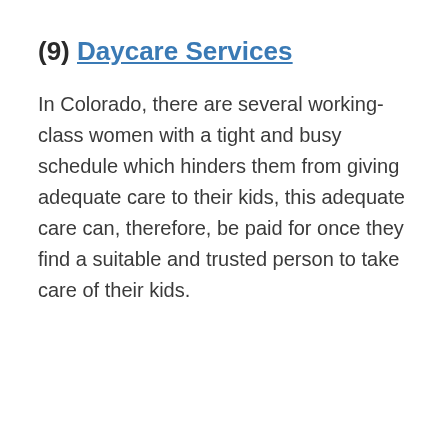(9) Daycare Services
In Colorado, there are several working-class women with a tight and busy schedule which hinders them from giving adequate care to their kids, this adequate care can, therefore, be paid for once they find a suitable and trusted person to take care of their kids.